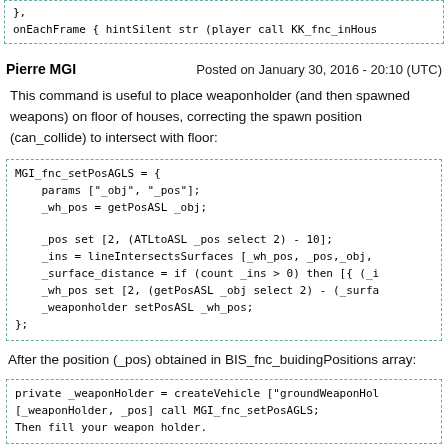[Figure (screenshot): Top code block showing partial code: }, onEachFrame { hintSilent str (player call KK_fnc_inHous]
Pierre MGI    Posted on January 30, 2016 - 20:10 (UTC)
This command is useful to place weaponholder (and then spawned weapons) on floor of houses, correcting the spawn position (can_collide) to intersect with floor:
[Figure (screenshot): Code block: MGI_fnc_setPosAGLS = { params ["_obj", "_pos"]; _wh_pos = getPosASL _obj; _pos set [2, (ATLtoASL _pos select 2) - 10]; _ins = lineIntersectsSurfaces [_wh_pos, _pos,_obj, _surface_distance = if (count _ins > 0) then [{ (_i _wh_pos set [2, (getPosASL _obj select 2) - (_surfa _weaponholder setPosASL _wh_pos; };]
After the position (_pos) obtained in BIS_fnc_buidingPositions array:
[Figure (screenshot): Code block: private _weaponHolder = createVehicle ["groundWeaponHol [_weaponHolder, _pos] call MGI_fnc_setPosAGLS; Then fill your weapon holder.]